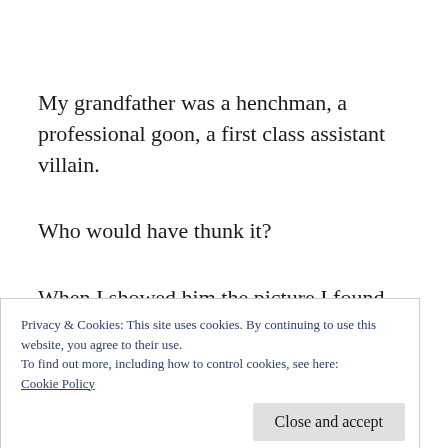My grandfather was a henchman, a professional goon, a first class assistant villain.
Who would have thunk it?
When I showed him the picture I found, there was no denial, no shame and definitely no [remorse. Instead, like a little boy caught...]
Privacy & Cookies: This site uses cookies. By continuing to use this website, you agree to their use.
To find out more, including how to control cookies, see here:
Cookie Policy
ninety-one you skip the small talk bullshit and